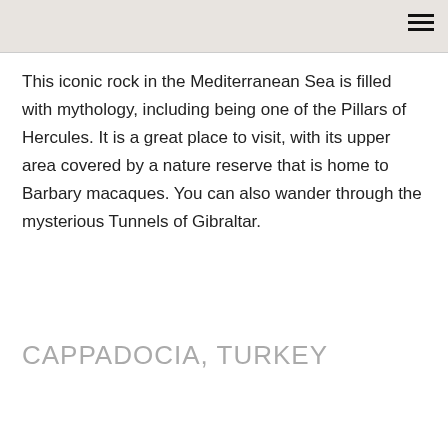This iconic rock in the Mediterranean Sea is filled with mythology, including being one of the Pillars of Hercules. It is a great place to visit, with its upper area covered by a nature reserve that is home to Barbary macaques. You can also wander through the mysterious Tunnels of Gibraltar.
CAPPADOCIA, TURKEY